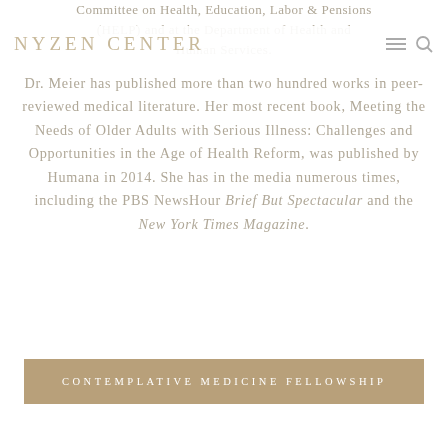NYZEN CENTER
Committee on Health, Education, Labor & Pensions (HELP) and at the Department of Health and Human Services.
Dr. Meier has published more than two hundred works in peer-reviewed medical literature. Her most recent book, Meeting the Needs of Older Adults with Serious Illness: Challenges and Opportunities in the Age of Health Reform, was published by Humana in 2014. She has in the media numerous times, including the PBS NewsHour Brief But Spectacular and the New York Times Magazine.
CONTEMPLATIVE MEDICINE FELLOWSHIP